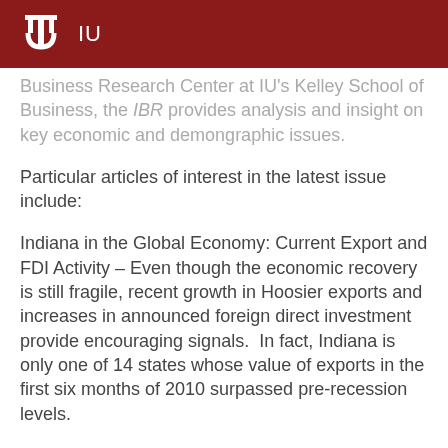IU
Business Research Center at IU's Kelley School of Business, the IBR provides analysis and insight on key economic and demographic issues.
Particular articles of interest in the latest issue include:
Indiana in the Global Economy: Current Export and FDI Activity – Even though the economic recovery is still fragile, recent growth in Hoosier exports and increases in announced foreign direct investment provide encouraging signals.  In fact, Indiana is only one of 14 states whose value of exports in the first six months of 2010 surpassed pre-recession levels.
Education's Value: It's Not That Simple – Educational